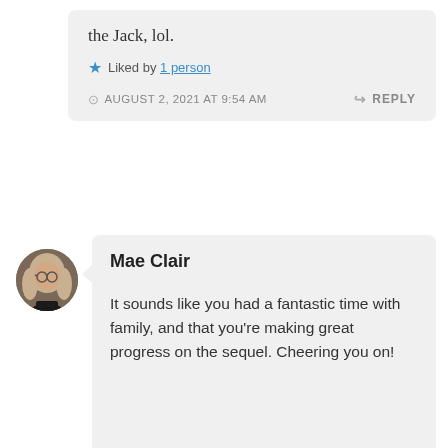the Jack, lol.
Liked by 1 person
AUGUST 2, 2021 AT 9:54 AM
REPLY
Mae Clair
It sounds like you had a fantastic time with family, and that you're making great progress on the sequel. Cheering you on!